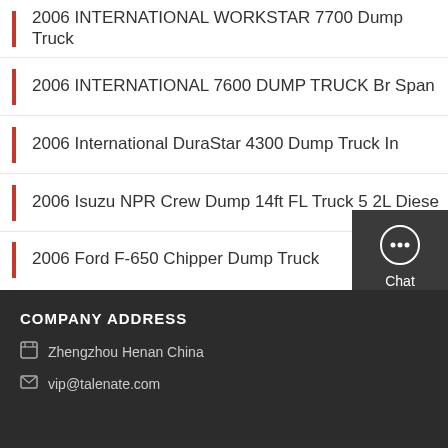2006 INTERNATIONAL WORKSTAR 7700 Dump Truck
2006 INTERNATIONAL 7600 DUMP TRUCK Br Span
2006 International DuraStar 4300 Dump Truck In
2006 Isuzu NPR Crew Dump 14ft FL Truck 5 2L Diesel
2006 Ford F-650 Chipper Dump Truck
Chat
Email
Contact
COMPANY ADDRESS
Zhengzhou Henan China
vip@talenate.com